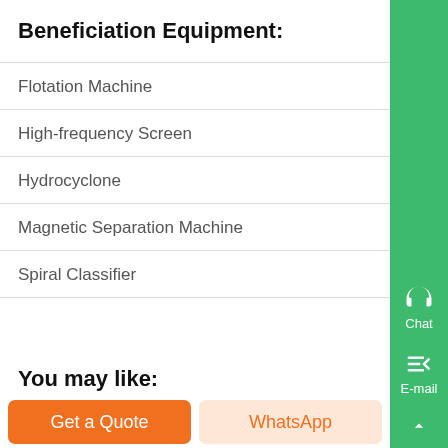Beneficiation Equipment:
Flotation Machine
High-frequency Screen
Hydrocyclone
Magnetic Separation Machine
Spiral Classifier
You may like:
Get a Quote
WhatsApp